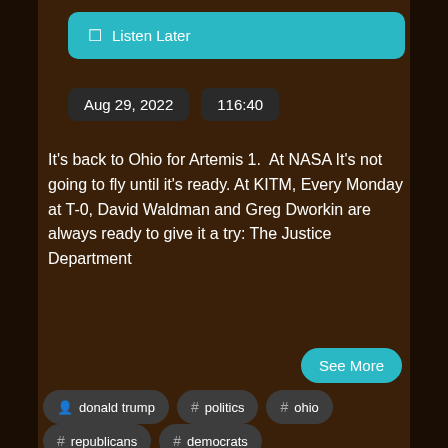Listen Later
Aug 29, 2022   116:40
It's back to Ohio for Artemis 1.  At NASA It's not going to fly until it's ready. At KITM, Every Monday at T-0, David Waldman and Greg Dworkin are always ready to give it a try: The Justice Department
See More
donald trump
# politics
# ohio
# republicans
# democrats
# progressive
# conservatives
# ukrainian
# democratic party